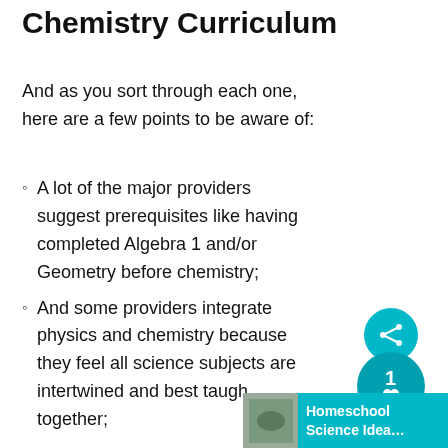Chemistry Curriculum
And as you sort through each one, here are a few points to be aware of:
A lot of the major providers suggest prerequisites like having completed Algebra 1 and/or Geometry before chemistry;
And some providers integrate physics and chemistry because they feel all science subjects are intertwined and best taught together;
[Figure (other): Social share widget with teal circle icons and a count badge showing '1', and a Homeschool Science Idea... promotional banner in the bottom right corner.]